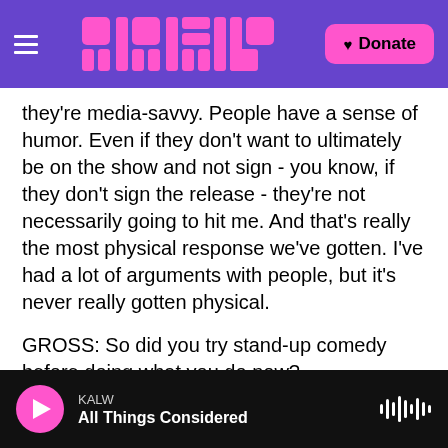KALW logo and Donate button navigation bar
they're media-savvy. People have a sense of humor. Even if they don't want to ultimately be on the show and not sign - you know, if they don't sign the release - they're not necessarily going to hit me. And that's really the most physical response we've gotten. I've had a lot of arguments with people, but it's never really gotten physical.
GROSS: So did you try stand-up comedy before doing what you do now?
EICHNER: I started out as a very traditional actor. I went to Northwestern. I was a theater major there.
KALW — All Things Considered